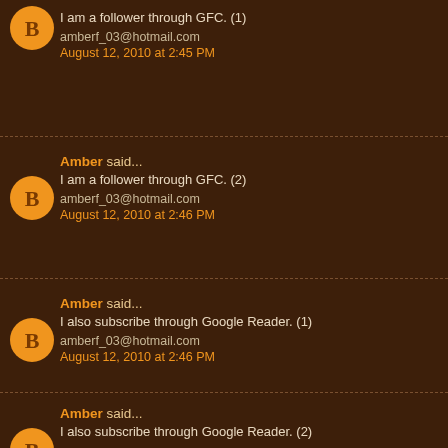I am a follower through GFC. (1)
amberf_03@hotmail.com
August 12, 2010 at 2:45 PM
Amber said...
I am a follower through GFC. (2)
amberf_03@hotmail.com
August 12, 2010 at 2:46 PM
Amber said...
I also subscribe through Google Reader. (1)
amberf_03@hotmail.com
August 12, 2010 at 2:46 PM
Amber said...
I also subscribe through Google Reader. (2)